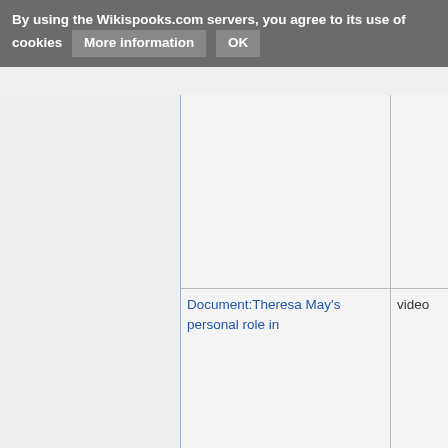By using the Wikispooks.com servers, you agree to its use of cookies   More information   OK
[Figure (screenshot): Grid/table layout of a wiki page with multiple cells separated by light blue/gray vertical and horizontal lines. The grid shows empty cells in the upper portion and a link 'Document:Theresa May's personal role in...' and 'video' text in the lower right cells.]
Document:Theresa May's personal role in
video